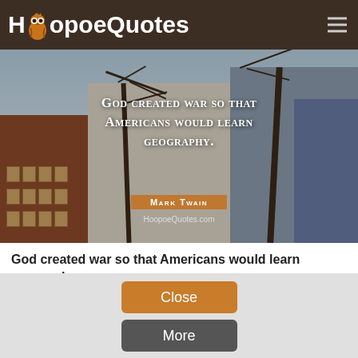HoopoeQuotes
[Figure (screenshot): Hero image of an urban winter scene with buildings and bare trees. Overlaid text: 'God created war so that Americans would learn geography.' with attribution 'Mark Twain' on an orange banner and 'HoopoeQuotes.com' below.]
God created war so that Americans would learn geography.
Mark Twain
By using our site you consent with the use of cookies.
Close
More